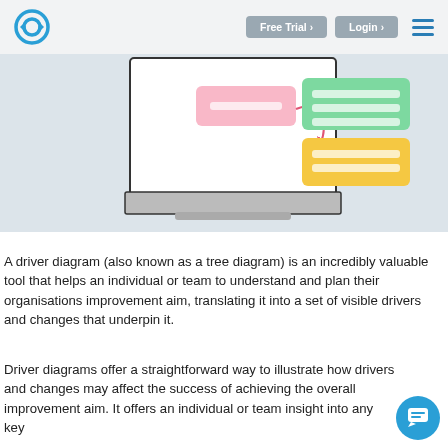Free Trial | Login | [hamburger menu]
[Figure (screenshot): Screenshot of a driver diagram tool showing a laptop display with a pink box connected by a red arrow to a green box and a yellow box with horizontal lines inside them]
A driver diagram (also known as a tree diagram) is an incredibly valuable tool that helps an individual or team to understand and plan their organisations improvement aim, translating it into a set of visible drivers and changes that underpin it.
Driver diagrams offer a straightforward way to illustrate how drivers and changes may affect the success of achieving the overall improvement aim. It offers an individual or team insight into any key